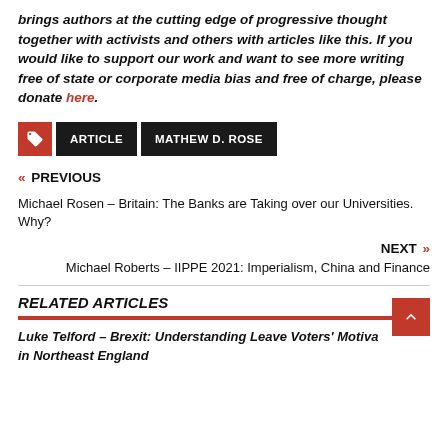brings authors at the cutting edge of progressive thought together with activists and others with articles like this. If you would like to support our work and want to see more writing free of state or corporate media bias and free of charge, please donate here.
ARTICLE
MATHEW D. ROSE
« PREVIOUS
Michael Rosen – Britain: The Banks are Taking over our Universities. Why?
NEXT »
Michael Roberts – IIPPE 2021: Imperialism, China and Finance
RELATED ARTICLES
Luke Telford – Brexit: Understanding Leave Voters' Motiva in Northeast England